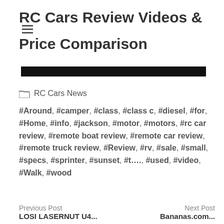RC Cars Review Videos & Price Comparison
[Figure (other): Black navigation/search bar]
RC Cars News
#Around, #camper, #class, #class c, #diesel, #for, #Home, #info, #jackson, #motor, #motors, #rc car review, #remote boat review, #remote car review, #remote truck review, #Review, #rv, #sale, #small, #specs, #sprinter, #sunset, #t…., #used, #video, #Walk, #wood
Previous Post
Next Post